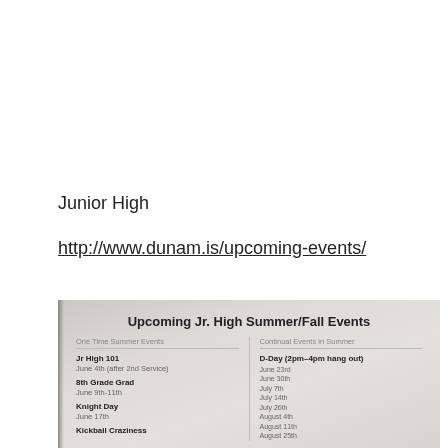Junior High
http://www.dunam.is/upcoming-events/
[Figure (photo): Photo/scan of a printed flyer titled 'Upcoming Jr. High Summer/Fall Events' listing One Time Summer Events (Jr High 101, 8th Grade Grad, Knight Day, Kickball Craziness) and Continual Events in Summer (D-Day 2pm-4pm hang out with dates June 23rd through August 25th).]